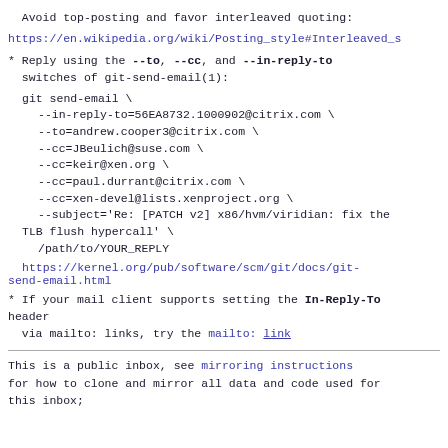Avoid top-posting and favor interleaved quoting:
https://en.wikipedia.org/wiki/Posting_style#Interleaved_s
* Reply using the --to, --cc, and --in-reply-to switches of git-send-email(1):

  git send-email \
    --in-reply-to=56EA8732.1000902@citrix.com \
    --to=andrew.cooper3@citrix.com \
    --cc=JBeulich@suse.com \
    --cc=keir@xen.org \
    --cc=paul.durrant@citrix.com \
    --cc=xen-devel@lists.xenproject.org \
    --subject='Re: [PATCH v2] x86/hvm/viridian: fix the TLB flush hypercall' \
    /path/to/YOUR_REPLY
https://kernel.org/pub/software/scm/git/docs/git-send-email.html
* If your mail client supports setting the In-Reply-To header
  via mailto: links, try the mailto: link
This is a public inbox, see mirroring instructions
for how to clone and mirror all data and code used for
this inbox;